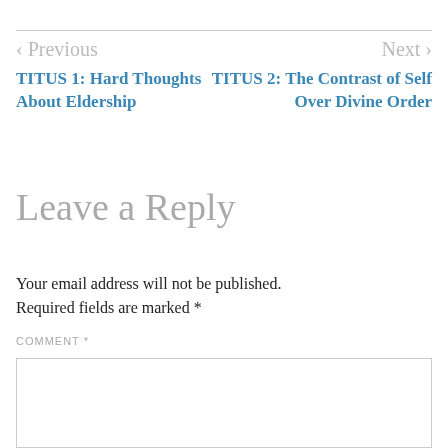< Previous | Next >
TITUS 1: Hard Thoughts About Eldership
TITUS 2: The Contrast of Self Over Divine Order
Leave a Reply
Your email address will not be published. Required fields are marked *
COMMENT *